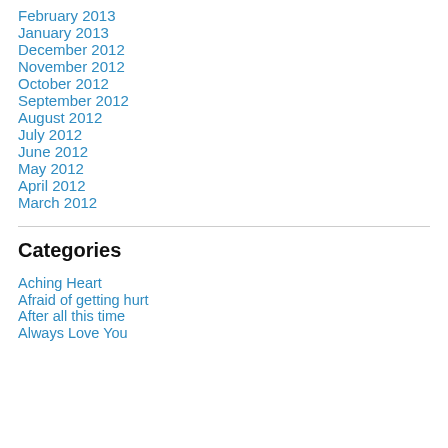February 2013
January 2013
December 2012
November 2012
October 2012
September 2012
August 2012
July 2012
June 2012
May 2012
April 2012
March 2012
Categories
Aching Heart
Afraid of getting hurt
After all this time
Always Love You